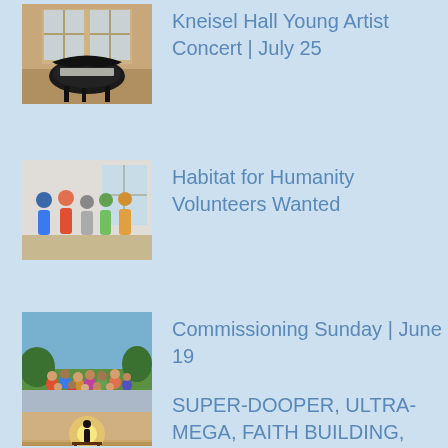Kneisel Hall Young Artist Concert | July 25
Habitat for Humanity Volunteers Wanted
Commissioning Sunday | June 19
SUPER-DOOPER, ULTRA-MEGA, FAITH BUILDING,